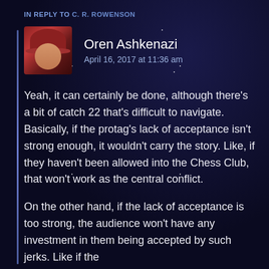IN REPLY TO C. R. ROWENSON
[Figure (photo): Avatar image of Oren Ashkenazi, a person wearing a red wide-brim hat, illustrated/painted style, against a dark background]
Oren Ashkenazi
April 16, 2017 at 11:36 am
Yeah, it can certainly be done, although there’s a bit of catch 22 that’s difficult to navigate. Basically, if the protag’s lack of acceptance isn’t strong enough, it wouldn’t carry the story. Like, if they haven’t been allowed into the Chess Club, that won’t work as the central conflict.
On the other hand, if the lack of acceptance is too strong, the audience won’t have any investment in them being accepted by such jerks. Like if the ...